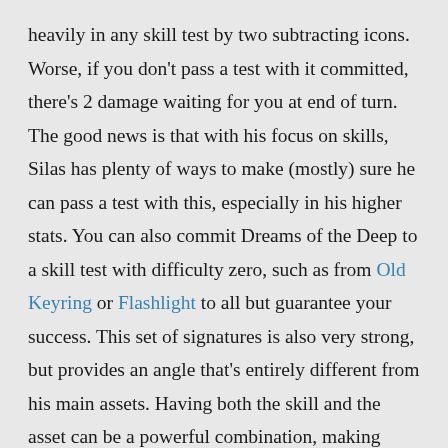heavily in any skill test by two subtracting icons. Worse, if you don't pass a test with it committed, there's 2 damage waiting for you at end of turn. The good news is that with his focus on skills, Silas has plenty of ways to make (mostly) sure he can pass a test with this, especially in his higher stats. You can also commit Dreams of the Deep to a skill test with difficulty zero, such as from Old Keyring or Flashlight to all but guarantee your success. This set of signatures is also very strong, but provides an angle that's entirely different from his main assets. Having both the skill and the asset can be a powerful combination, making Silas one of the few investigators where I'd strongly consider playing both sets of signatures.